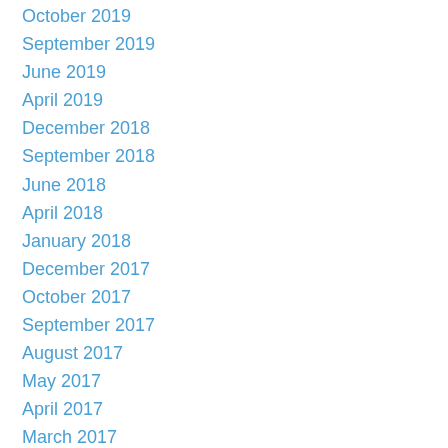October 2019
September 2019
June 2019
April 2019
December 2018
September 2018
June 2018
April 2018
January 2018
December 2017
October 2017
September 2017
August 2017
May 2017
April 2017
March 2017
February 2017
January 2017
December 2016
November 2016
October 2016